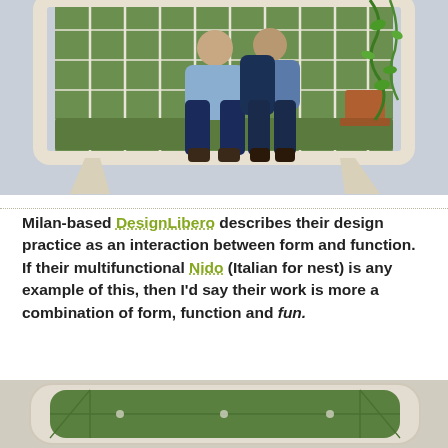[Figure (photo): Two men sitting on the Nido multifunctional bench/seat with green upholstered back panel, wooden frame legs, potted plants and hanging vines integrated into the design, against a light grey background.]
Milan-based DesignLibero describes their design practice as an interaction between form and function. If their multifunctional Nido (Italian for nest) is any example of this, then I'd say their work is more a combination of form, function and fun.
[Figure (photo): Top-down or angled view of the Nido piece, showing green upholstered surface with rounded rectangular cream/white frame and geometric line details on the surface, partially visible.]